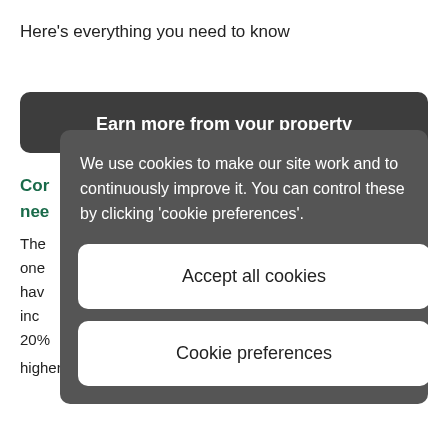Here's everything you need to know
[Figure (screenshot): Dark rounded banner with white bold text: 'Earn more from your property']
Co[ntent partially obscured by modal]
The[text partially obscured] but one[text partially obscured] hav[e...] al inc[ome...] 20%[...] higher bracket. There are some reductions with things like
We use cookies to make our site work and to continuously improve it. You can control these by clicking 'cookie preferences'.
Accept all cookies
Cookie preferences